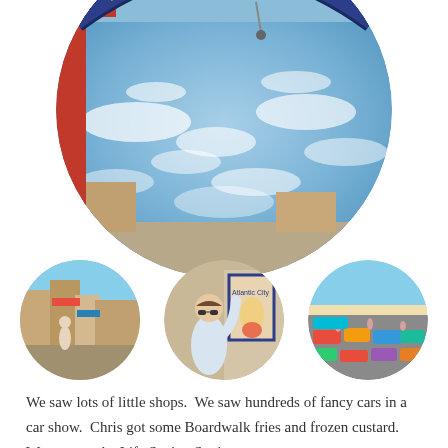[Figure (photo): Large circular fisheye photo of the Boardwalk sign arch against a blue cloudy sky, with a street scene below the arch.]
[Figure (photo): Three circular photos side by side: left shows a street scene with shops, middle shows a man holding a vintage poster, right shows a car show with many colorful cars on a beach.]
We saw lots of little shops.  We saw hundreds of fancy cars in a car show.  Chris got some Boardwalk fries and frozen custard.  We went to the Life Saving Station